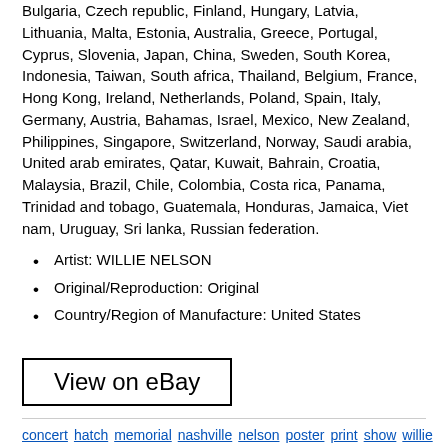Bulgaria, Czech republic, Finland, Hungary, Latvia, Lithuania, Malta, Estonia, Australia, Greece, Portugal, Cyprus, Slovenia, Japan, China, Sweden, South Korea, Indonesia, Taiwan, South africa, Thailand, Belgium, France, Hong Kong, Ireland, Netherlands, Poland, Spain, Italy, Germany, Austria, Bahamas, Israel, Mexico, New Zealand, Philippines, Singapore, Switzerland, Norway, Saudi arabia, United arab emirates, Qatar, Kuwait, Bahrain, Croatia, Malaysia, Brazil, Chile, Colombia, Costa rica, Panama, Trinidad and tobago, Guatemala, Honduras, Jamaica, Viet nam, Uruguay, Sri lanka, Russian federation.
Artist: WILLIE NELSON
Original/Reproduction: Original
Country/Region of Manufacture: United States
View on eBay
concert hatch memorial nashville nelson poster print show willie
[Figure (photo): Thumbnail image of a Willie Nelson concert poster with blue border, dark background showing a figure]
1979 Willie Nelson & Family Austin Opera...